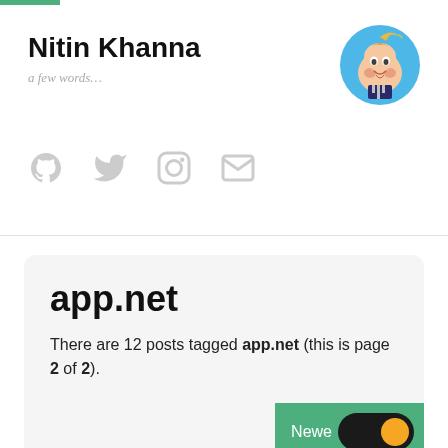Nitin Khanna
a few words...
[Figure (illustration): Tintin cartoon avatar in circular frame with blue background]
[Figure (infographic): Social media icons: GitHub, Twitter, Instagram, Email (all in light gray)]
app.net
There are 12 posts tagged app.net (this is page 2 of 2).